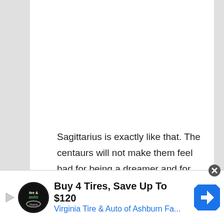Sagittarius is exactly like that. The centaurs will not make them feel bad for being a dreamer and for wanting to create a better future.
When they are together, they will philosophize about deep topics and live an existence filled with mental stimulation and endless exploration.
[Figure (screenshot): Advertisement banner: Buy 4 Tires, Save Up To $120 - Virginia Tire & Auto of Ashburn Fa... with logo and arrow icon]